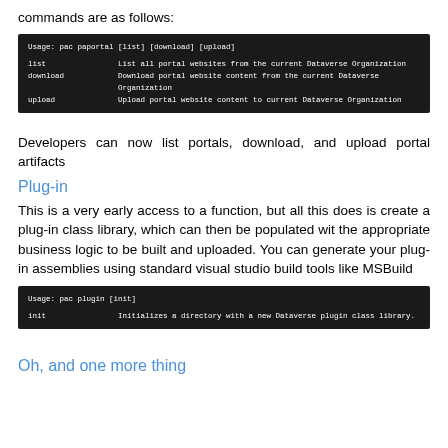commands are as follows:
[Figure (screenshot): Dark terminal/code block showing: Usage: pac paportal [list] [download] [upload] with subcommands list, download, upload and their descriptions for Dataverse Organization portal website operations.]
Developers can now list portals, download, and upload portal artifacts
Plug-in
This is a very early access to a function, but all this does is create a plug-in class library, which can then be populated wit the appropriate business logic to be built and uploaded. You can generate your plug-in assemblies using standard visual studio build tools like MSBuild
[Figure (screenshot): Dark terminal/code block showing: Usage: pac plugin [init] with subcommand init that Initializes a directory with a new Dataverse plugin class library.]
Oh, and one more thing